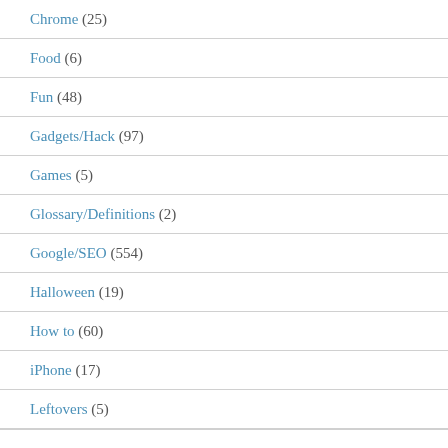Chrome (25)
Food (6)
Fun (48)
Gadgets/Hack (97)
Games (5)
Glossary/Definitions (2)
Google/SEO (554)
Halloween (19)
How to (60)
iPhone (17)
Leftovers (5)